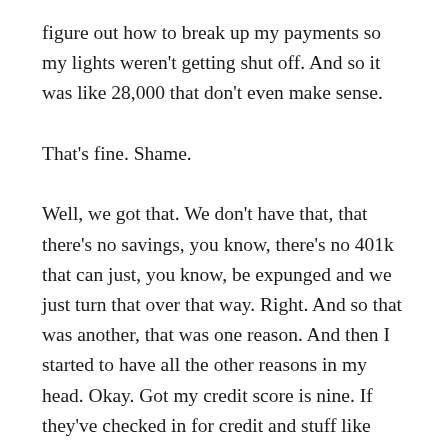figure out how to break up my payments so my lights weren't getting shut off. And so it was like 28,000 that don't even make sense. That's fine. Shame. Well, we got that. We don't have that, that there's no savings, you know, there's no 401k that can just, you know, be expunged and we just turn that over that way. Right. And so that was another, that was one reason. And then I started to have all the other reasons in my head. Okay. Got my credit score is nine. If they've checked in for credit and stuff like that, your background, I'm not going to pass that test either. Right? So I had told myself all the reasons and guide to why we weren't the right candidates. And so